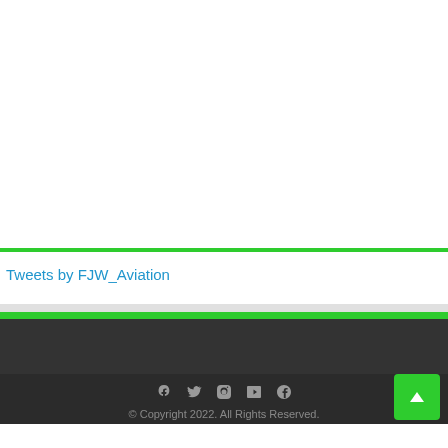Tweets by FJW_Aviation
© Copyright 2022. All Rights Reserved.